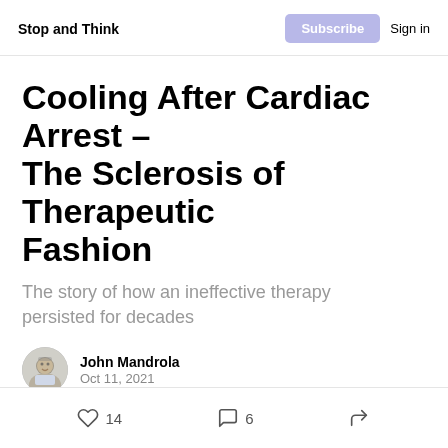Stop and Think
Cooling After Cardiac Arrest – The Sclerosis of Therapeutic Fashion
The story of how an ineffective therapy persisted for decades
John Mandrola
Oct 11, 2021
A recent reversal in an established practice in cardiology provides a beautiful example of how biased